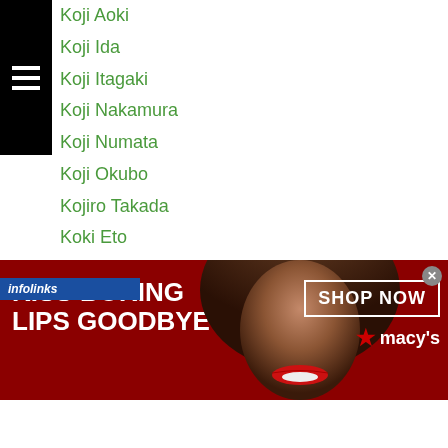Koji Aoki
Koji Ida
Koji Itagaki
Koji Nakamura
Koji Numata
Koji Okubo
Kojiro Takada
Koki Eto
Koki Kameda
Koki Kobayashi
Koki Ono
Koki Tomio
Koki Tyson Maebara
Koki Yoshida
Komgrit Nanakorn
...yak Porpramook
[Figure (photo): Macy's advertisement banner: 'Kiss Boring Lips Goodbye' with woman's face and red lips, Shop Now button and Macy's star logo]